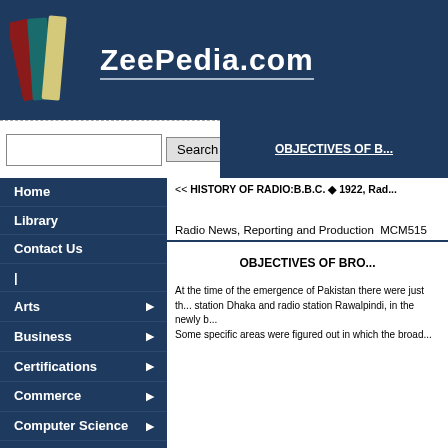ZeePedia.com
<< HISTORY OF RADIO:B.B.C. ◆ 1922, Radio...
Home
Library
Contact Us
|
Arts
Business
Certifications
Commerce
Computer Science
Earth Sciences
Engineering
English
OBJECTIVES OF B...
Radio News, Reporting and Production  MCM515
OBJECTIVES OF BRO...
At the time of the emergence of Pakistan there were just th... station Dhaka and radio station Rawalpindi, in the newly b... Some specific areas were figured out in which the broad...